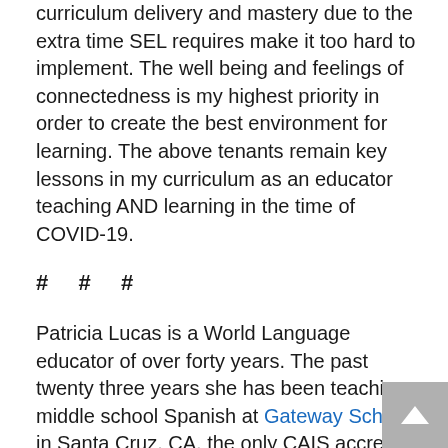curriculum delivery and mastery due to the extra time SEL requires make it too hard to implement. The well being and feelings of connectedness is my highest priority in order to create the best environment for learning. The above tenants remain key lessons in my curriculum as an educator teaching AND learning in the time of COVID-19.
# # #
Patricia Lucas is a World Language educator of over forty years. The past twenty three years she has been teaching middle school Spanish at Gateway School in Santa Cruz, CA, the only CAIS accredited school in Santa Cruz